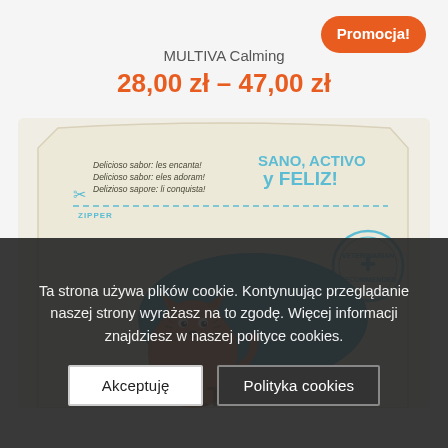MULTIVA Calming
28,00 zł – 47,00 zł
Promocja!
[Figure (photo): Product package of MULTIVA Calming, a beige stand-up pouch featuring a cartoon cat next to a blue speech bubble, with text 'Sano, Activo y Feliz!' and 'Veterinarian Recommended' badge, zipper opening marked on the bag.]
Ta strona używa plików cookie. Kontynuując przeglądanie naszej strony wyrażasz na to zgodę. Więcej informacji znajdziesz w naszej polityce cookies.
Akceptuję
Polityka cookies